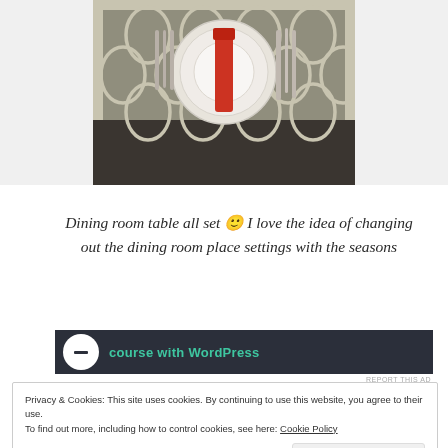[Figure (photo): A dining room table place setting with plates, silverware, and a red folded napkin on a patterned placemat]
Dining room table all set 🙂 I love the idea of changing out the dining room place settings with the seasons
[Figure (screenshot): Advertisement banner with dark background showing 'course with WordPress' text in teal]
REPORT THIS AD
Privacy & Cookies: This site uses cookies. By continuing to use this website, you agree to their use.
To find out more, including how to control cookies, see here: Cookie Policy
Close and accept